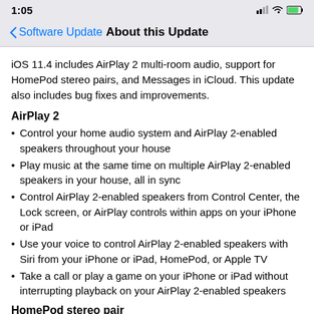1:05
Software Update   About this Update
iOS 11.4 includes AirPlay 2 multi-room audio, support for HomePod stereo pairs, and Messages in iCloud. This update also includes bug fixes and improvements.
AirPlay 2
Control your home audio system and AirPlay 2-enabled speakers throughout your house
Play music at the same time on multiple AirPlay 2-enabled speakers in your house, all in sync
Control AirPlay 2-enabled speakers from Control Center, the Lock screen, or AirPlay controls within apps on your iPhone or iPad
Use your voice to control AirPlay 2-enabled speakers with Siri from your iPhone or iPad, HomePod, or Apple TV
Take a call or play a game on your iPhone or iPad without interrupting playback on your AirPlay 2-enabled speakers
HomePod stereo pair